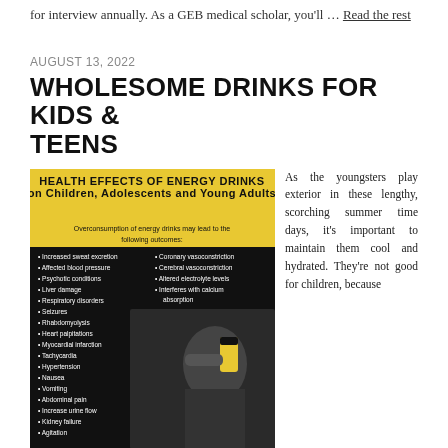for interview annually. As a GEB medical scholar, you'll … Read the rest
AUGUST 13, 2022
WHOLESOME DRINKS FOR KIDS & TEENS
[Figure (infographic): Health Effects of Energy Drinks on Children, Adolescents and Young Adults. Overconsumption of energy drinks may lead to the following outcomes: Left column: Increased sweat excretion, Affected blood pressure, Psychotic conditions, Liver damage, Respiratory disorders, Seizures, Rhabdomyolysis, Heart palpitations, Myocardial infarction, Tachycardia, Hypertension, Nausea, Vomiting, Abdominal pain, Increase urine flow, Kidney failure, Agitation. Right column: Coronary vasoconstriction, Cerebral vasoconstriction, Altered electrolyte levels, Interferes with calcium absorption. Photo of a young person drinking from an energy drink can.]
As the youngsters play exterior in these lengthy, scorching summer time days, it's important to maintain them cool and hydrated. They're not good for children, because